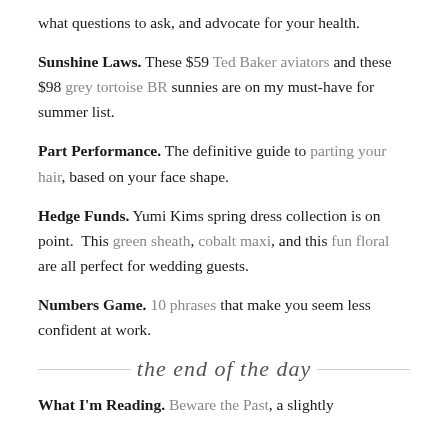what questions to ask, and advocate for your health.
Sunshine Laws. These $59 Ted Baker aviators and these $98 grey tortoise BR sunnies are on my must-have for summer list.
Part Performance. The definitive guide to parting your hair, based on your face shape.
Hedge Funds. Yumi Kims spring dress collection is on point. This green sheath, cobalt maxi, and this fun floral are all perfect for wedding guests.
Numbers Game. 10 phrases that make you seem less confident at work.
[Figure (illustration): Cursive script text reading 'the end of the day' with decorative horizontal lines on either side]
What I'm Reading. Beware the Past, a slightly